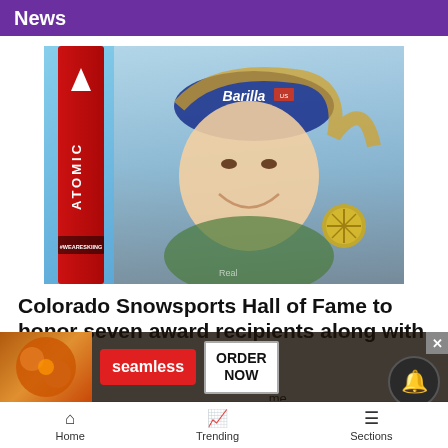News
[Figure (photo): Female alpine ski racer smiling and holding a gold medal, wearing a Barilla cap, with red Atomic ski visible on the left and #WEARESKIING text on ski boot area]
Colorado Snowsports Hall of Fame to honor seven award recipients along with class
14h ago
The ... Achi... tor
[Figure (infographic): Seamless food delivery advertisement overlay with food image, seamless red button, and ORDER NOW button]
Home   Trending   Sections